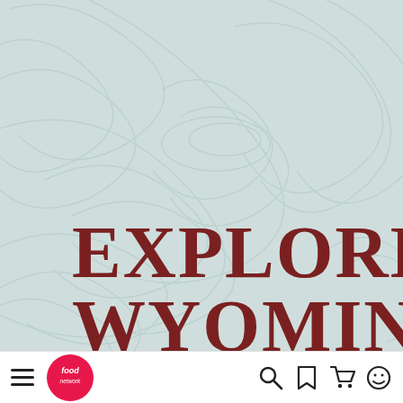[Figure (illustration): Topographic contour line background in light mint/sage green color, covering the upper portion of the page]
EXPLORE WYOMING
[Figure (logo): Food Network logo — red circle with white handwritten 'food network' text]
Navigation bar with hamburger menu, Food Network logo, search icon, bookmark icon, cart icon, and smiley face icon